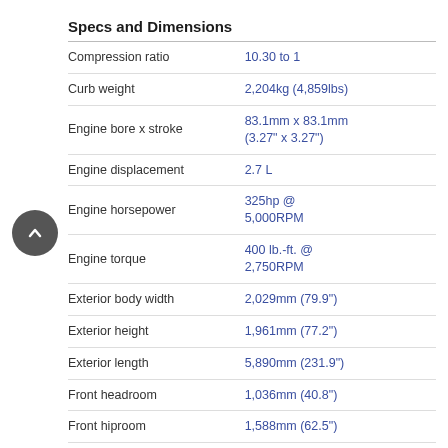| Specs and Dimensions |  |
| --- | --- |
| Compression ratio | 10.30 to 1 |
| Curb weight | 2,204kg (4,859lbs) |
| Engine bore x stroke | 83.1mm x 83.1mm (3.27" x 3.27") |
| Engine displacement | 2.7 L |
| Engine horsepower | 325hp @ 5,000RPM |
| Engine torque | 400 lb.-ft. @ 2,750RPM |
| Exterior body width | 2,029mm (79.9") |
| Exterior height | 1,961mm (77.2") |
| Exterior length | 5,890mm (231.9") |
| Front headroom | 1,036mm (40.8") |
| Front hiproom | 1,588mm (62.5") |
| Front legroom | 1,115mm (43.9") |
| Front shoulder room | 1,694mm (66.7") |
| GVWR | 2,994kg (6,600lbs) |